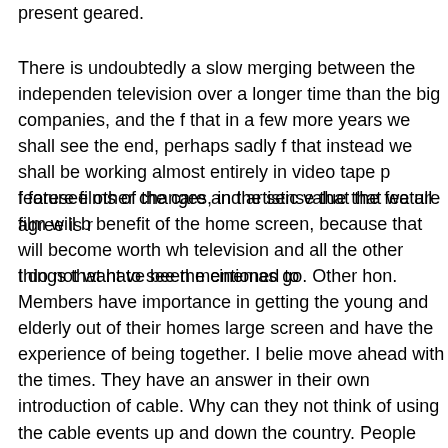present geared.
There is undoubtedly a slow merging between the independent television over a longer time than the big companies, and the f that in a few more years we shall see the end, perhaps sadly f that instead we shall be working almost entirely in video tape p feature films of the care and artistic value that we all agree is r
I foresee other changes, in the sense that the feature film will b benefit of the home screen, because that will become worth wh television and all the other things that have been mentioned to
I do not want to see the cinemas go. Other hon. Members have importance in getting the young and elderly out of their homes large screen and have the experience of being together. I belie move ahead with the times. They have an answer in their own introduction of cable. Why can they not think of using the cable events up and down the country. People would gladly pay to se through the wire to their cinemas. Those who do not want to go multiple choice of programmes.